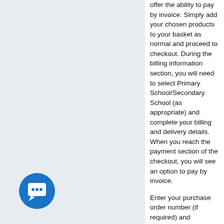offer the ability to pay by invoice. Simply add your chosen products to your basket as normal and proceed to checkout. During the billing information section, you will need to select Primary School/Secondary School (as appropriate) and complete your billing and delivery details. When you reach the payment section of the checkout, you will see an option to pay by invoice.
Enter your purchase order number (if required) and complete the transaction as normal.
Paying by invoice is only available on orders over £17 for the UK
Your invoice will be included with your
[Figure (illustration): Blue circular chat/support icon with white speech bubble containing three dots]